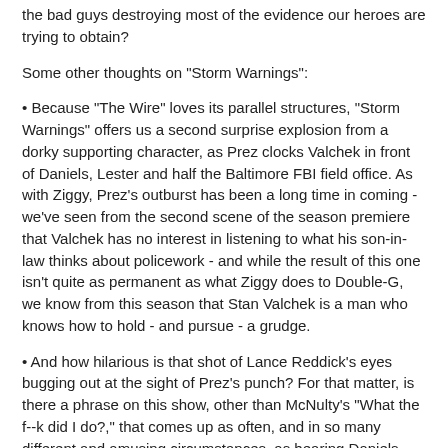the bad guys destroying most of the evidence our heroes are trying to obtain?
Some other thoughts on "Storm Warnings":
• Because "The Wire" loves its parallel structures, "Storm Warnings" offers us a second surprise explosion from a dorky supporting character, as Prez clocks Valchek in front of Daniels, Lester and half the Baltimore FBI field office. As with Ziggy, Prez's outburst has been a long time in coming - we've seen from the second scene of the season premiere that Valchek has no interest in listening to what his son-in-law thinks about policework - and while the result of this one isn't quite as permanent as what Ziggy does to Double-G, we know from this season that Stan Valchek is a man who knows how to hold - and pursue - a grudge.
• And how hilarious is that shot of Lance Reddick's eyes bugging out at the sight of Prez's punch? For that matter, is there a phrase on this show, other than McNulty's "What the f--k did I do?," that comes up as often, and in so many different and amusing circumstances, as hearing Daniels